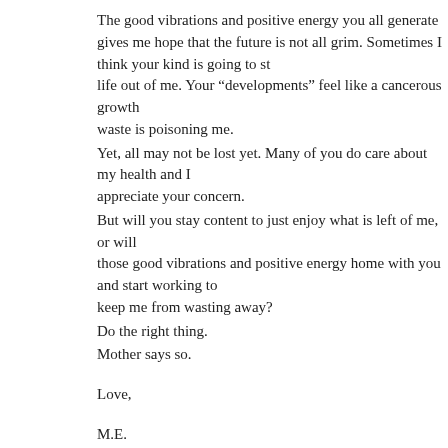The good vibrations and positive energy you all generate gives me hope that the future is not all grim. Sometimes I think your kind is going to suck the very life out of me. Your “developments” feel like a cancerous growth and your waste is poisoning me.
Yet, all may not be lost yet. Many of you do care about my health and I appreciate your concern.
But will you stay content to just enjoy what is left of me, or will you take those good vibrations and positive energy home with you and start working to keep me from wasting away?
Do the right thing.
Mother says so.
Love,
M.E.
++++++++++++++++++++++++++++++++++++++++++++++++++++++++++++++++++++++++++++
++++++++++++++++